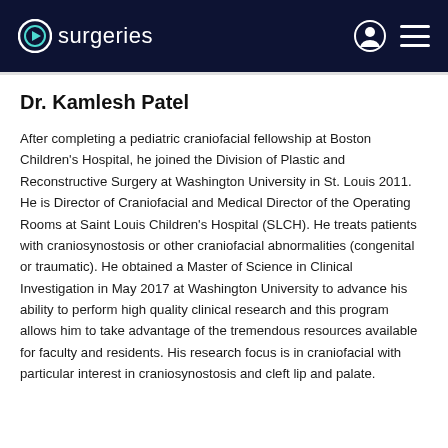surgeries
Dr. Kamlesh Patel
After completing a pediatric craniofacial fellowship at Boston Children's Hospital, he joined the Division of Plastic and Reconstructive Surgery at Washington University in St. Louis 2011. He is Director of Craniofacial and Medical Director of the Operating Rooms at Saint Louis Children's Hospital (SLCH). He treats patients with craniosynostosis or other craniofacial abnormalities (congenital or traumatic). He obtained a Master of Science in Clinical Investigation in May 2017 at Washington University to advance his ability to perform high quality clinical research and this program allows him to take advantage of the tremendous resources available for faculty and residents. His research focus is in craniofacial with particular interest in craniosynostosis and cleft lip and palate.